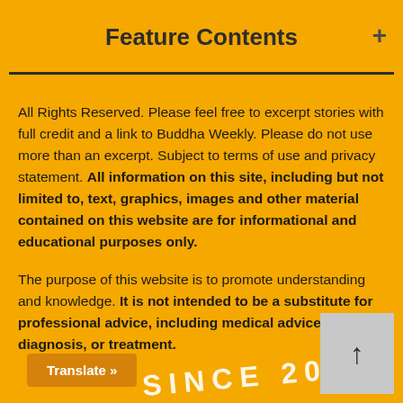Feature Contents
All Rights Reserved. Please feel free to excerpt stories with full credit and a link to Buddha Weekly. Please do not use more than an excerpt. Subject to terms of use and privacy statement. All information on this site, including but not limited to, text, graphics, images and other material contained on this website are for informational and educational purposes only.
The purpose of this website is to promote understanding and knowledge. It is not intended to be a substitute for professional advice, including medical advice, diagnosis, or treatment.
Translate »
SINCE 20